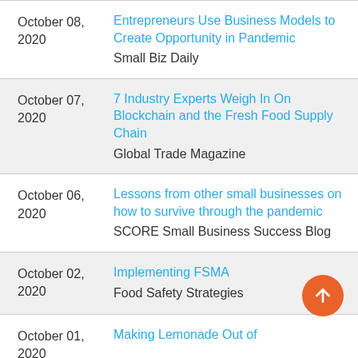| Date | Article / Source |
| --- | --- |
| October 08, 2020 | Entrepreneurs Use Business Models to Create Opportunity in Pandemic
Small Biz Daily |
| October 07, 2020 | 7 Industry Experts Weigh In On Blockchain and the Fresh Food Supply Chain
Global Trade Magazine |
| October 06, 2020 | Lessons from other small businesses on how to survive through the pandemic
SCORE Small Business Success Blog |
| October 02, 2020 | Implementing FSMA
Food Safety Strategies |
| October 01, 2020 | Making Lemonade Out of … |